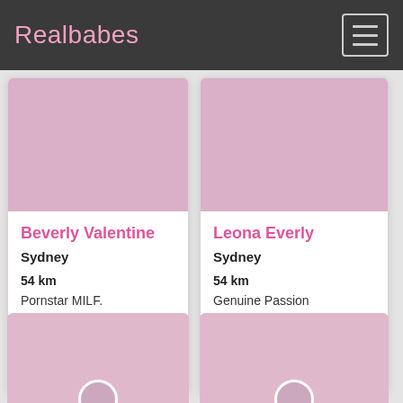Realbabes
Beverly Valentine
Sydney
54 km
Pornstar MILF. Everyday's
Beverly Valentine
Leona Everly
Sydney
54 km
Genuine Passion Natural Curves
Leona Everly